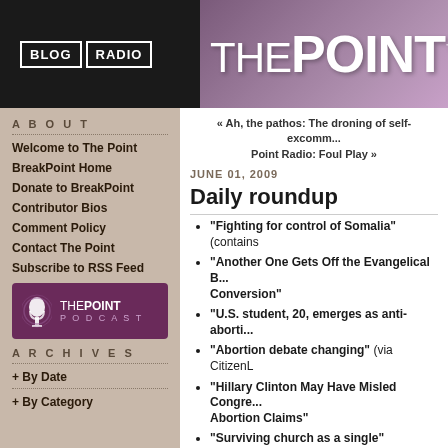BLOG | RADIO — THE POINT™
ABOUT
Welcome to The Point
BreakPoint Home
Donate to BreakPoint
Contributor Bios
Comment Policy
Contact The Point
Subscribe to RSS Feed
[Figure (logo): The Point Podcast logo with microphone icon on purple background]
ARCHIVES
+ By Date
+ By Category
+ List All
« Ah, the pathos: The droning of self-excomm... Point Radio: Foul Play »
JUNE 01, 2009
Daily roundup
"Fighting for control of Somalia" (contains...
"Another One Gets Off the Evangelical B... Conversion"
"U.S. student, 20, emerges as anti-aborti...
"Abortion debate changing" (via CitizenL...
"Hillary Clinton May Have Misled Congre... Abortion Claims"
"Surviving church as a single"
BOOKMARK
Posted by Gina Dalfonzo on June 01, 2009 at 05:11 PM in Ap... Media, Church Issues, Crime & Criminal Justice, Health &... Affairs, Life Issues, Marriage & Family, Military, Politics &... Society, Sexual Ethics, Trends, Youth Issues, Permali...